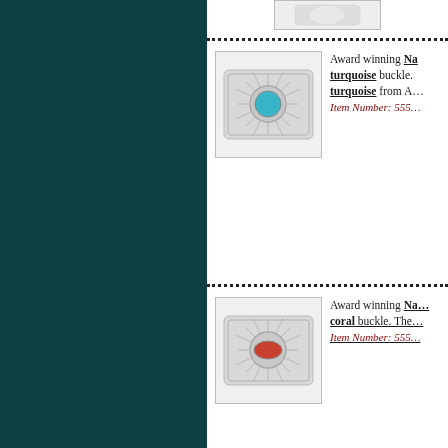[Figure (photo): Top partial image of a white/silver jewelry item, cropped at top]
[Figure (photo): Award winning Navajo turquoise belt buckle, silver with turquoise stone center, sunburst pattern]
Award winning Na... turquoise buckle... turquoise from A... Item Number: 555...
[Figure (photo): Award winning Navajo coral belt buckle, silver with coral stone center, sunburst pattern]
Award winning Na... coral buckle. The... Item Number: 555...